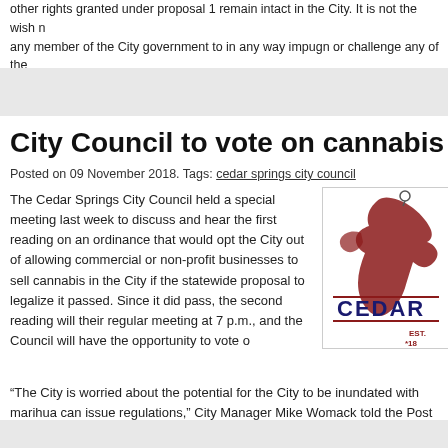other rights granted under proposal 1 remain intact in the City. It is not the wish of any member of the City government to in any way impugn or challenge any of the
City Council to vote on cannabis sales in
Posted on 09 November 2018. Tags: cedar springs city council
[Figure (logo): Cedar Springs city logo with Michigan mitten shape and text CEDAR EST. 18]
The Cedar Springs City Council held a special meeting last week to discuss and hear the first reading on an ordinance that would opt the City out of allowing commercial or non-profit businesses to sell cannabis in the City if the statewide proposal to legalize it passed. Since it did pass, the second reading will their regular meeting at 7 p.m., and the Council will have the opportunity to vote o
“The City is worried about the potential for the City to be inundated with marihua can issue regulations,” City Manager Mike Womack told the Post last week. “I thi a wait and see attitude due to how much time the State took in implementing the should emphasize that this ordinance is not necessarily indicative of the City or C on whether marihuana facilities will be permitted in the City or not.”